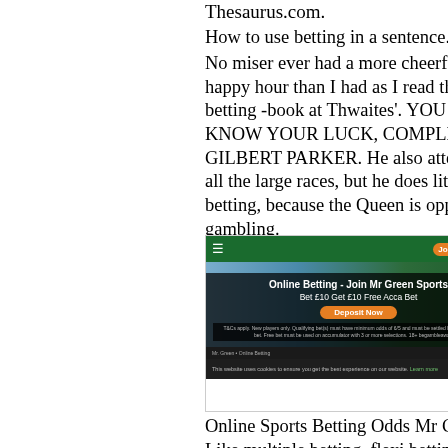Thesaurus.com. How to use betting in a sentence. No miser ever had a more cheerful and happy hour than I had as I read the betting -book at Thwaites'. YOU NEVER KNOW YOUR LUCK, COMPLETE GILBERT PARKER. He also attends to all the large races, but he does little betting, because the Queen is opposed to gambling.
[Figure (screenshot): Screenshot of Mr Green online sports betting website showing a dark overlay with text 'Online Betting - Join Mr Green Sports Bet £10 Get £10 Free Acca Bet' and a Deposit Now button, with a cookie consent bar at the bottom.]
Online Sports Betting Odds Mr Green. Like multiple betting, flexi betting is ideal for speculative bets or for